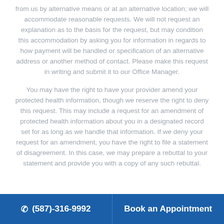from us by alternative means or at an alternative location; we will accommodate reasonable requests. We will not request an explanation as to the basis for the request, but may condition this accommodation by asking you for information in regards to how payment will be handled or specification of an alternative address or another method of contact. Please make this request in writing and submit it to our Office Manager.
You may have the right to have your provider amend your protected health information, though we reserve the right to deny this request. This may include a request for an amendment of protected health information about you in a designated record set for as long as we handle that information. If we deny your request for an amendment, you have the right to file a statement of disagreement. In this case, we may prepare a rebuttal to your statement and provide you with a copy of any such rebuttal.
(587)-316-9992  Book an Appointment